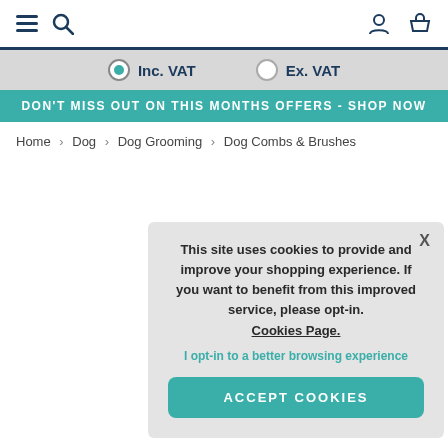Navigation bar with hamburger menu, search icon, user icon, and basket icon
Inc. VAT  Ex. VAT
DON'T MISS OUT ON THIS MONTHS OFFERS - SHOP NOW
Home > Dog > Dog Grooming > Dog Combs & Brushes
This site uses cookies to provide and improve your shopping experience. If you want to benefit from this improved service, please opt-in. Cookies Page.
I opt-in to a better browsing experience
ACCEPT COOKIES